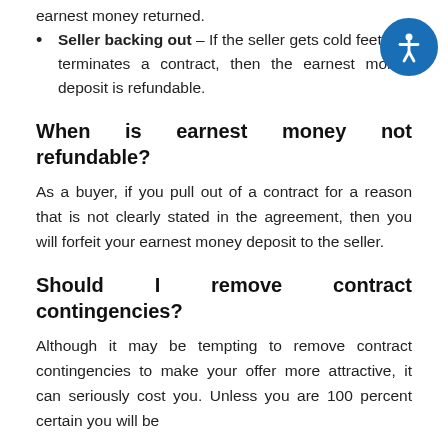Seller backing out – If the seller gets cold feet and terminates a contract, then the earnest money deposit is refundable.
When is earnest money not refundable?
As a buyer, if you pull out of a contract for a reason that is not clearly stated in the agreement, then you will forfeit your earnest money deposit to the seller.
Should I remove contract contingencies?
Although it may be tempting to remove contract contingencies to make your offer more attractive, it can seriously cost you. Unless you are 100 percent certain you will be